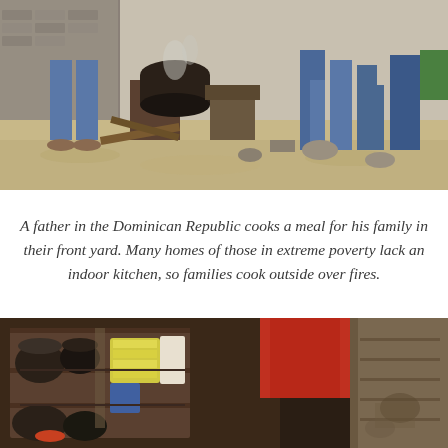[Figure (photo): A father in the Dominican Republic cooking a meal outdoors over a fire in a front yard, with children visible in the background standing near makeshift structures. Sandy ground with scattered debris and wooden elements visible.]
A father in the Dominican Republic cooks a meal for his family in their front yard. Many homes of those in extreme poverty lack an indoor kitchen, so families cook outside over fires.
[Figure (photo): Interior view of a makeshift home showing pots, pans, dishes stacked on shelves, with a red fabric visible and weathered wood/metal walls in the background, depicting a poor household kitchen area.]